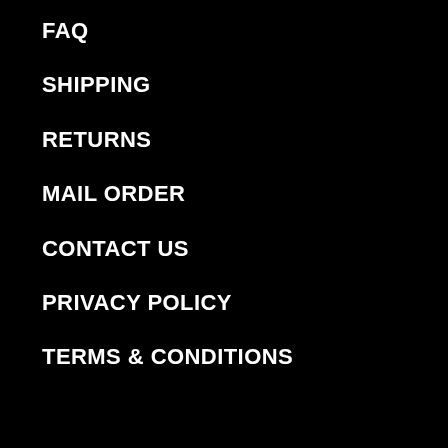FAQ
SHIPPING
RETURNS
MAIL ORDER
CONTACT US
PRIVACY POLICY
TERMS & CONDITIONS